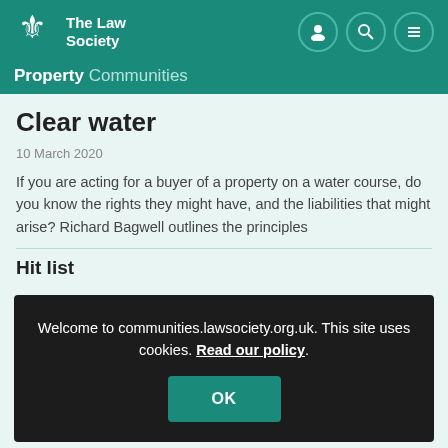The Law Society — Property Communities
Clear water
10 March 2020
If you are acting for a buyer of a property on a water course, do you know the rights they might have, and the liabilities that might arise? Richard Bagwell outlines the principles
Hit list
Welcome to communities.lawsociety.org.uk. This site uses cookies. Read our policy.
Think tank